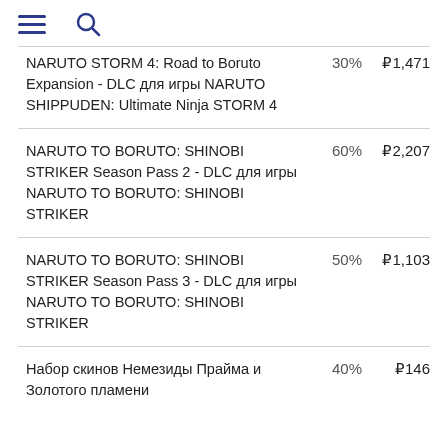[hamburger menu] [search icon]
NARUTO STORM 4: Road to Boruto Expansion - DLC для игры NARUTO SHIPPUDEN: Ultimate Ninja STORM 4 | 30% | ₽1,471
NARUTO TO BORUTO: SHINOBI STRIKER Season Pass 2 - DLC для игры NARUTO TO BORUTO: SHINOBI STRIKER | 60% | ₽2,207
NARUTO TO BORUTO: SHINOBI STRIKER Season Pass 3 - DLC для игры NARUTO TO BORUTO: SHINOBI STRIKER | 50% | ₽1,103
Набор скинов Немезиды Прайма и Золотого пламени | 40% | ₽146